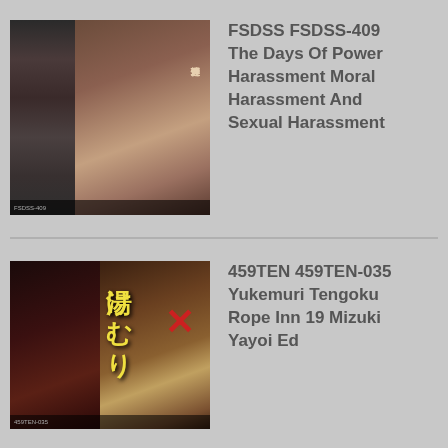[Figure (photo): DVD cover art for FSDSS-409, showing a Japanese adult video product cover with multiple scene images.]
FSDSS FSDSS-409 The Days Of Power Harassment Moral Harassment And Sexual Harassment
[Figure (photo): DVD cover art for 459TEN-035, showing a Japanese adult video product cover with bondage imagery.]
459TEN 459TEN-035 Yukemuri Tengoku Rope Inn 19 Mizuki Yayoi Ed